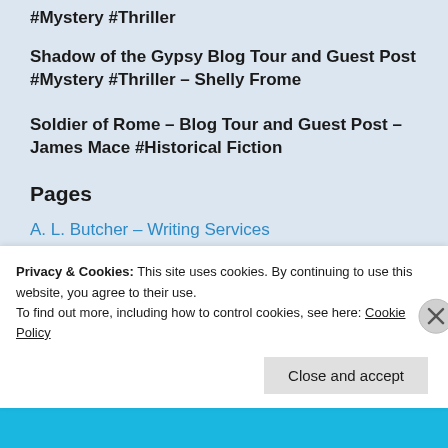#Mystery #Thriller
Shadow of the Gypsy Blog Tour and Guest Post #Mystery #Thriller – Shelly Frome
Soldier of Rome – Blog Tour and Guest Post – James Mace #Historical Fiction
Pages
A. L. Butcher – Writing Services
About
Privacy & Cookies: This site uses cookies. By continuing to use this website, you agree to their use.
To find out more, including how to control cookies, see here: Cookie Policy
Close and accept